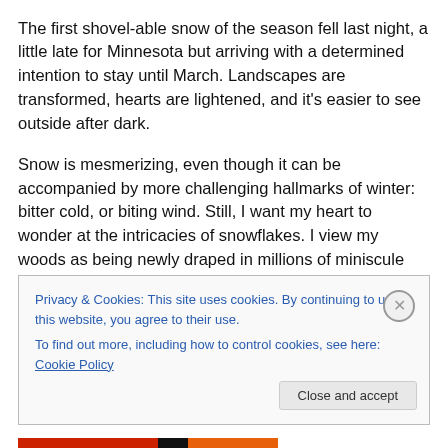The first shovel-able snow of the season fell last night, a little late for Minnesota but arriving with a determined intention to stay until March. Landscapes are transformed, hearts are lightened, and it's easier to see outside after dark.
Snow is mesmerizing, even though it can be accompanied by more challenging hallmarks of winter: bitter cold, or biting wind. Still, I want my heart to wonder at the intricacies of snowflakes. I view my woods as being newly draped in millions of miniscule masterpieces.
Privacy & Cookies: This site uses cookies. By continuing to use this website, you agree to their use. To find out more, including how to control cookies, see here: Cookie Policy
Close and accept